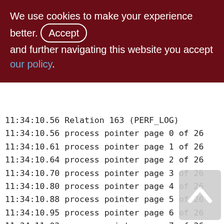We use cookies to make your experience better. By accepting and further navigating this website you accept our policy.
11:34:10.56 Relation 163 (PERF_LOG)
11:34:10.56 process pointer page 0 of 26
11:34:10.61 process pointer page 1 of 26
11:34:10.64 process pointer page 2 of 26
11:34:10.70 process pointer page 3 of 26
11:34:10.80 process pointer page 4 of 26
11:34:10.88 process pointer page 5 of 26
11:34:10.95 process pointer page 6 of 26
11:34:11.03 process pointer page 7 of 26
11:34:11.11 process pointer page 8 of 26
11:34:11.19 process pointer page 9 of 26
11:34:11.28 process pointer page 10 of 26
11:34:11.36 process pointer page 11 of 26